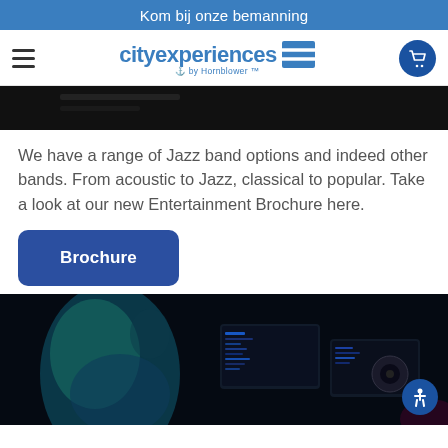Kom bij onze bemanning
[Figure (logo): City Experiences by Hornblower logo with flag icon and shopping cart button]
[Figure (photo): Dark image strip, partial photo visible at top]
We have a range of Jazz band options and indeed other bands. From acoustic to Jazz, classical to popular. Take a look at our new Entertainment Brochure here.
Brochure
[Figure (photo): Dark photo of a person in blue-green light working at computer screens showing DJ or music production software]